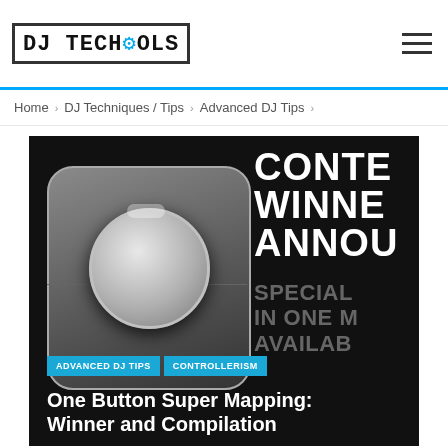DJ TECHTOOLS
Home > DJ Techniques / Tips > Advanced DJ Tips
[Figure (photo): DJ controller button on dark background with text overlay reading CONTE WINNE ANNOU SPECIAL IN ONE M AVAILAB. Category badges: ADVANCED DJ TIPS, CONTROLLERISM. Article title: One Button Super Mapping: Winner and Compilation]